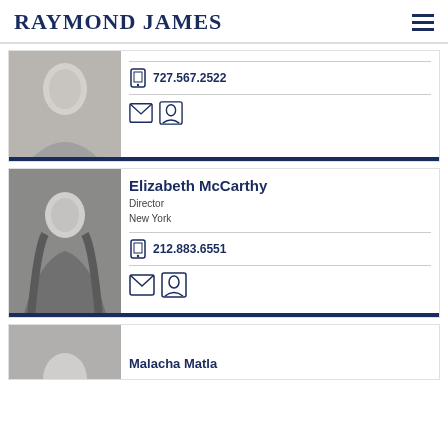RAYMOND JAMES
[Figure (photo): Grayscale headshot of a woman with short hair and a necklace]
727.567.2522
[Figure (photo): Grayscale headshot of Elizabeth McCarthy, woman with long dark hair]
Elizabeth McCarthy
Director
New York
212.883.6551
[Figure (photo): Grayscale headshot of Malacha Matla, partially visible at bottom]